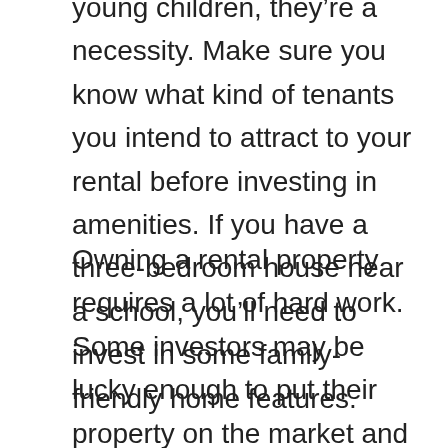young children, they're a necessity. Make sure you know what kind of tenants you intend to attract to your rental before investing in amenities. If you have a three-bedroom house near a school, you'll need to invest in some family-friendly home features.
Owning a rental property requires a lot of hard work. Some investors may be lucky enough to put their property on the market and find great tenants right away, but most will have to make a few changes to attract renters. As you're planning your upgrades, think about the features you would want